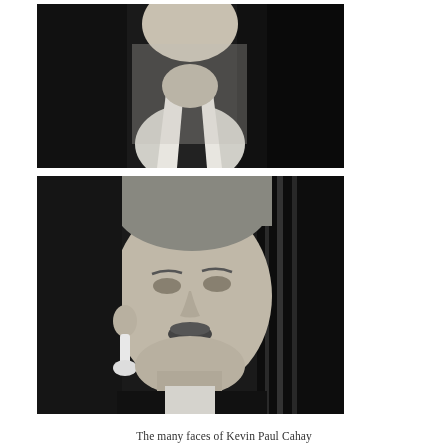[Figure (photo): Black and white photo strip showing two frames of Kevin Paul Cahay. Top frame shows upper body/neck area of a person in dark jacket with white shirt, head tilted back. Bottom frame shows a closer portrait of a young person with short hair, dangling earring, looking slightly to the side.]
The many faces of Kevin Paul Cahay